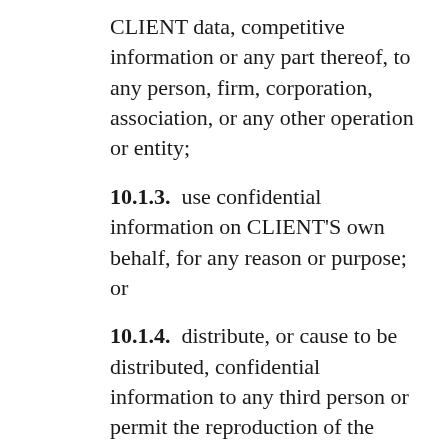CLIENT data, competitive information or any part thereof, to any person, firm, corporation, association, or any other operation or entity;
10.1.3.  use confidential information on CLIENT'S own behalf, for any reason or purpose; or
10.1.4.  distribute, or cause to be distributed, confidential information to any third person or permit the reproduction of the confidential information, except on behalf of TQI in CLIENT'S capacity